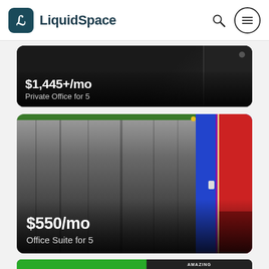LiquidSpace
[Figure (photo): Partial listing card showing dark office interior with price $1,445+/mo and label Private Office for 5]
$1,445+/mo
Private Office for 5
[Figure (photo): Listing card showing a curtained room with blue door frame and red wall visible, price $550/mo, Office Suite for 5]
$550/mo
Office Suite for 5
[Figure (photo): Partial listing card at bottom showing green background and text AMAZING AMAZING partially visible]